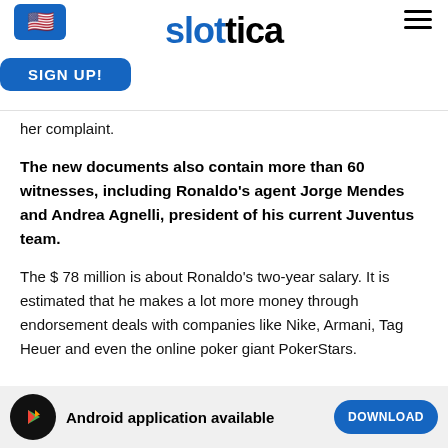slottica — SIGN UP!
her complaint.
The new documents also contain more than 60 witnesses, including Ronaldo's agent Jorge Mendes and Andrea Agnelli, president of his current Juventus team.
The $ 78 million is about Ronaldo's two-year salary. It is estimated that he makes a lot more money through endorsement deals with companies like Nike, Armani, Tag Heuer and even the online poker giant PokerStars.
Android application available DOWNLOAD